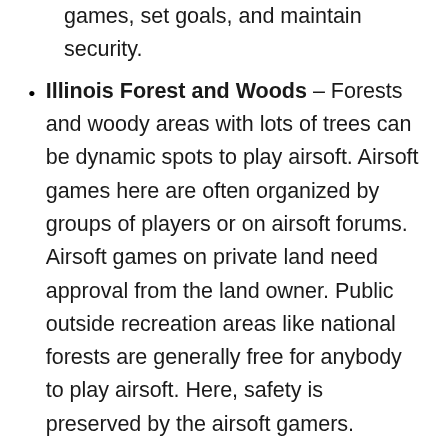games, set goals, and maintain security.
Illinois Forest and Woods – Forests and woody areas with lots of trees can be dynamic spots to play airsoft. Airsoft games here are often organized by groups of players or on airsoft forums. Airsoft games on private land need approval from the land owner. Public outside recreation areas like national forests are generally free for anybody to play airsoft. Here, safety is preserved by the airsoft gamers.
Fields and Open Spaces in Chatsworth, Illinois – Fields and open spaces can be good airsoft fields and locations to host games. Players wishing to play airsoft games on personal property require the land owner's approval. Land features like gullies and